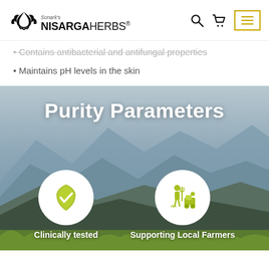Sonark's NISARGAHERBS®
Contains antibacterial and antifungal properties
Maintains pH levels in the skin
Purity Parameters
[Figure (illustration): White circle with green verified/badge checkmark icon representing clinically tested products]
Clinically tested
[Figure (illustration): White circle with green farmers/agriculture icon representing support for local farmers]
Supporting Local Farmers